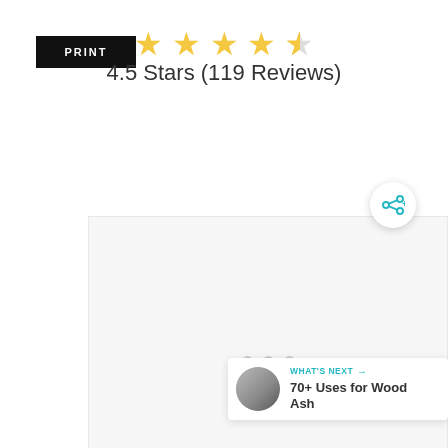PRINT
[Figure (other): 4.5 out of 5 stars rating display with 5 star icons (4 full gold, 1 half gold/gray)]
4.5 Stars (119 Reviews)
[Figure (photo): Large white/light gray image placeholder box with three loading dots in the center]
[Figure (other): Share button icon (teal/cyan share symbol with plus sign) in circular white button]
WHAT'S NEXT → 70+ Uses for Wood Ash